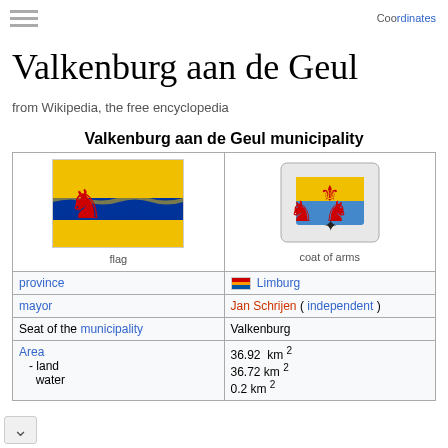Coordinates
Valkenburg aan de Geul
from Wikipedia, the free encyclopedia
| flag | coat of arms |
| --- | --- |
| [flag image] | [coat of arms image] |
| province | Limburg |
| mayor | Jan Schrijen ( independent ) |
| Seat of the municipality | Valkenburg |
| Area | 36.92 km² |
| - land | 36.72 km² |
| water | 0.2 km² |